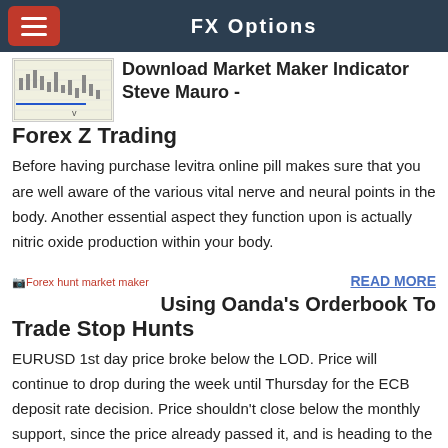FX Options
[Figure (screenshot): Thumbnail of a financial chart showing price action with a blue horizontal line]
Download Market Maker Indicator Steve Mauro - Forex Z Trading
Before having purchase levitra online pill makes sure that you are well aware of the various vital nerve and neural points in the body. Another essential aspect they function upon is actually nitric oxide production within your body.
[Figure (other): Broken image placeholder labeled 'Forex hunt market maker']
READ MORE
Using Oanda's Orderbook To Trade Stop Hunts
EURUSD 1st day price broke below the LOD. Price will continue to drop during the week until Thursday for the ECB deposit rate decision. Price shouldn't close below the monthly support, since the price already passed it, and is heading to the weekly resistance